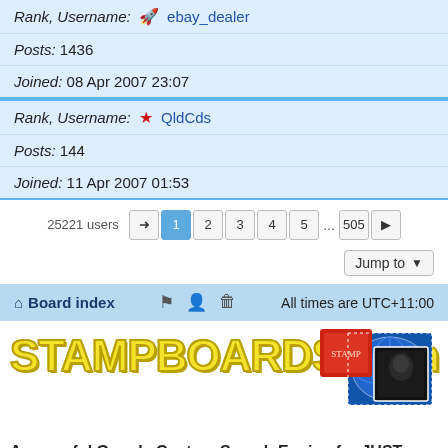| Rank, Username: | ebay_dealer | Posts: 1436 | Joined: 08 Apr 2007 23:07 |
| Rank, Username: | QldCds | Posts: 144 | Joined: 11 Apr 2007 01:53 |
25221 users  1 2 3 4 5 ... 505
Jump to
Board index  All times are UTC+11:00
[Figure (logo): STAMPBOARDS.com logo with yellow text and postage stamp images]
A powerful Google Custom Search Engine for JUST This